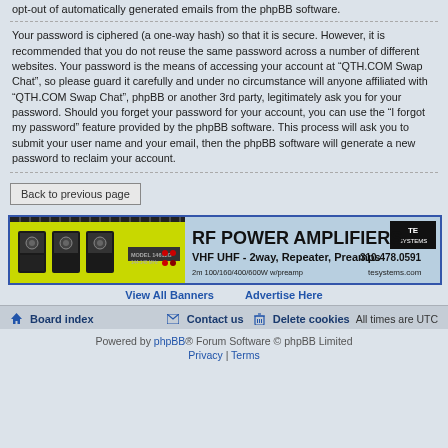opt-out of automatically generated emails from the phpBB software.
Your password is ciphered (a one-way hash) so that it is secure. However, it is recommended that you do not reuse the same password across a number of different websites. Your password is the means of accessing your account at “QTH.COM Swap Chat”, so please guard it carefully and under no circumstance will anyone affiliated with “QTH.COM Swap Chat”, phpBB or another 3rd party, legitimately ask you for your password. Should you forget your password for your account, you can use the “I forgot my password” feature provided by the phpBB software. This process will ask you to submit your user name and your email, then the phpBB software will generate a new password to reclaim your account.
Back to previous page
[Figure (infographic): TE Systems RF Power Amplifiers banner advertisement. Yellow/green equipment image on left, text: RF POWER AMPLIFIERS, VHF UHF - 2way, Repeater, Preamps, 310.478.0591, 2m 100/160/400/600W w/preamp, tesystems.com]
View All Banners   Advertise Here
Board index   Contact us   Delete cookies   All times are UTC
Powered by phpBB® Forum Software © phpBB Limited
Privacy | Terms